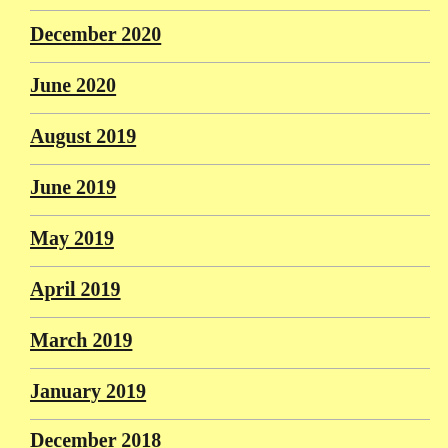December 2020
June 2020
August 2019
June 2019
May 2019
April 2019
March 2019
January 2019
December 2018
November 2018
September 2018